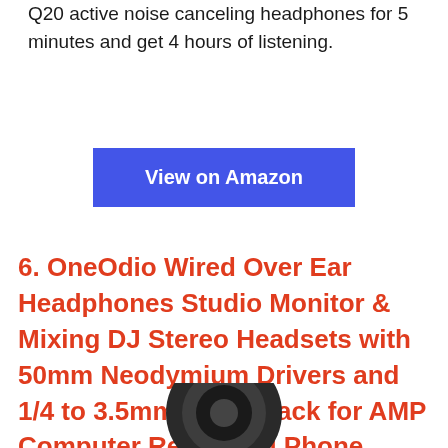Q20 active noise canceling headphones for 5 minutes and get 4 hours of listening.
View on Amazon
6. OneOdio Wired Over Ear Headphones Studio Monitor & Mixing DJ Stereo Headsets with 50mm Neodymium Drivers and 1/4 to 3.5mm Audio Jack for AMP Computer Recording Phone Piano Guitar Laptop – Black
[Figure (photo): Partial view of black over-ear headphones at the bottom of the page]